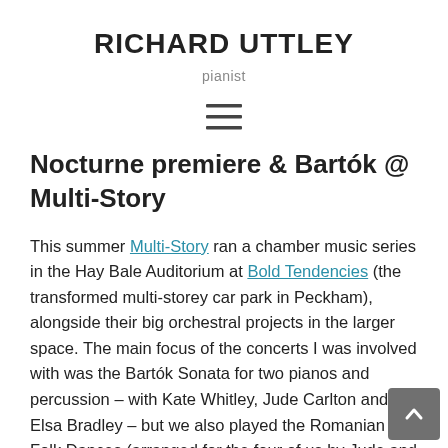RICHARD UTTLEY
pianist
[Figure (other): Hamburger menu icon (three horizontal lines)]
Nocturne premiere & Bartók @ Multi-Story
This summer Multi-Story ran a chamber music series in the Hay Bale Auditorium at Bold Tendencies (the transformed multi-storey car park in Peckham), alongside their big orchestral projects in the larger space. The main focus of the concerts I was involved with was the Bartók Sonata for two pianos and percussion – with Kate Whitley, Jude Carlton and Elsa Bradley – but we also played the Romanian Folk Dances (arranged for the four of us by Jude and Kate), and